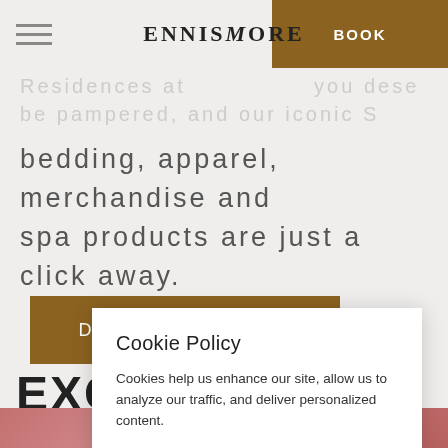ENNISMORE | BOOK
Residences at you deserve be pampered, and our iconic S bedding, apparel, merchandise and spa products are just a click away.
Discover The SLS Shop
EXCI
Cookie Policy
Cookies help us enhance our site, allow us to analyze our traffic, and deliver personalized content.
Review Cookie Settings | Close X